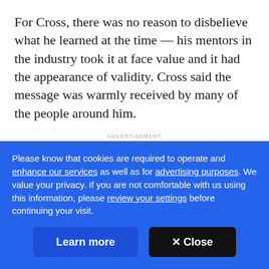For Cross, there was no reason to disbelieve what he learned at the time — his mentors in the industry took it at face value and it had the appearance of validity. Cross said the message was warmly received by many of the people around him.
ADVERTISEMENT
But over the years, Cross started to question what he
Please know that cookies are required to operate and enhance our services as well as for advertising purposes. We value your privacy. If you are not comfortable with us using this information, please review your settings before continuing your visit.